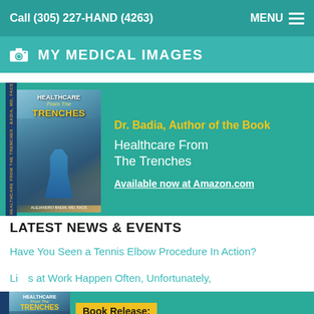Call (305) 227-HAND (4263)   MENU
MY MEDICAL IMAGES
[Figure (photo): Book cover of 'Healthcare From The Trenches' by Alejandro Badia MD, FACS, showing the author in scrubs standing outdoors]
Dr. Badia, Author of the Book Healthcare From The Trenches Available now at Amazon.com
LATEST NEWS & EVENTS
Have You Seen a Tennis Elbow Procedure In Action?
Li...s at Work Happen Often, Unfortunately,
[Figure (photo): Book cover of 'Healthcare From The Trenches' at bottom of page with Book Release overlay banner]
Book Release: Healthcare From The Trenches